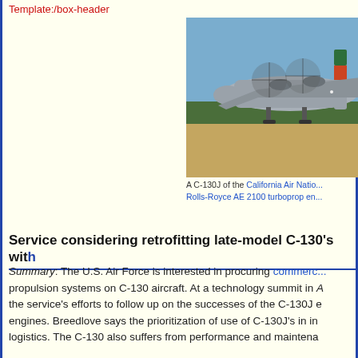Template:/box-header
[Figure (photo): A C-130J military transport aircraft on a tarmac, showing the front-left view with propellers spinning, a large red and orange stripe on the tail, viewed against a clear blue sky with trees in the background.]
A C-130J of the California Air National Guard with Rolls-Royce AE 2100 turboprop engines.
Service considering retrofitting late-model C-130's with
Summary: The U.S. Air Force is interested in procuring commercial propulsion systems on C-130 aircraft. At a technology summit in A the service's efforts to follow up on the successes of the C-130J engines. Breedlove says the prioritization of use of C-130J's in in logistics. The C-130 also suffers from performance and maintena